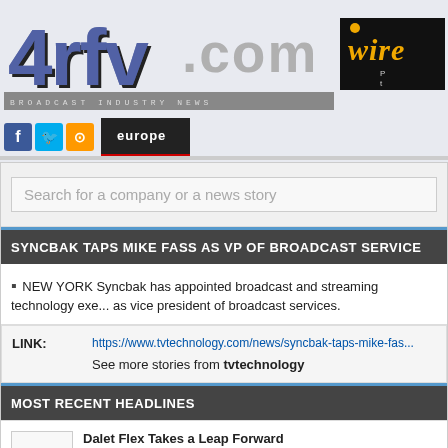[Figure (logo): 4rfv.com website logo with blue pixelated letters and grey .com text, plus 'wire' branding box in black/gold, and broadcast tagline bar]
europe
Search for a company or a news story
SYNCBAK TAPS MIKE FASS AS VP OF BROADCAST SERVICE
NEW YORK Syncbak has appointed broadcast and streaming technology exe... as vice president of broadcast services.
LINK: https://www.tvtechnology.com/news/syncbak-taps-mike-fas...
See more stories from tvtechnology
MOST RECENT HEADLINES
Dalet Flex Takes a Leap Forward
Dalet, a leading technology and service provider for media-rich organizations... new capabilities available in Dalet Flex that support importa...